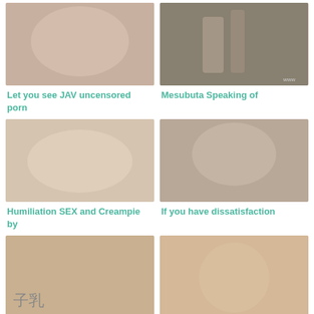[Figure (photo): Close-up photo thumbnail]
Let you see JAV uncensored porn
[Figure (photo): Photo thumbnail]
Mesubuta Speaking of
[Figure (photo): Photo thumbnail]
Humiliation SEX and Creampie by
[Figure (photo): Photo thumbnail]
If you have dissatisfaction
[Figure (photo): Photo thumbnail bottom left]
[Figure (photo): Photo thumbnail bottom right]